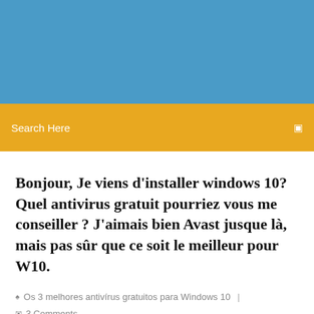[Figure (other): Blue header banner background]
Search Here
Bonjour, Je viens d'installer windows 10? Quel antivirus gratuit pourriez vous me conseiller ? J'aimais bien Avast jusque là, mais pas sûr que ce soit le meilleur pour W10.
Os 3 melhores antivírus gratuitos para Windows 10  |  3 Comments